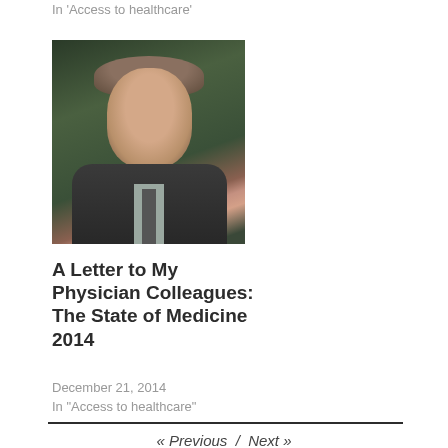In 'Access to healthcare'
[Figure (photo): Headshot of a middle-aged man in a dark suit and tie, smiling, against a dark green background]
A Letter to My Physician Colleagues: The State of Medicine 2014
December 21, 2014
In "Access to healthcare"
« Previous  /  Next »